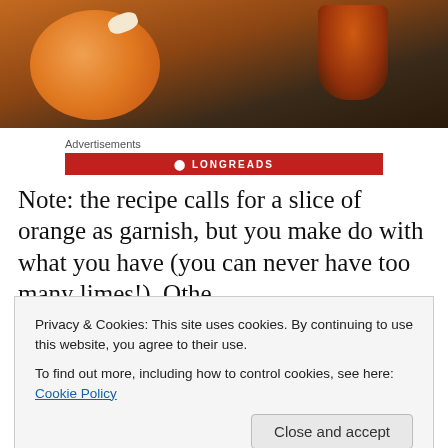[Figure (photo): Photo of an orange citrus fruit and a glass with an orange/amber drink on a dark background]
Advertisements
[Figure (infographic): Longreads red banner advertisement]
Note: the recipe calls for a slice of orange as garnish, but you make do with what you have (you can never have too many limes!). Otherwise it is 3 parts prosecco, 2 parts
Privacy & Cookies: This site uses cookies. By continuing to use this website, you agree to their use.
To find out more, including how to control cookies, see here: Cookie Policy
Close and accept